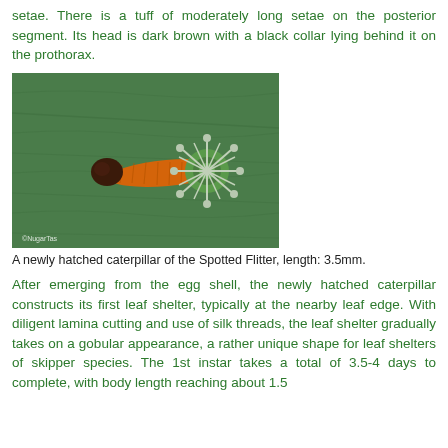setae. There is a tuff of moderately long setae on the posterior segment. Its head is dark brown with a black collar lying behind it on the prothorax.
[Figure (photo): Photograph of a newly hatched caterpillar (orange body, dark brown head) of the Spotted Flitter on a green leaf surface, next to a circular egg case with spiky edges. Copyright NugarTas.]
A newly hatched caterpillar of the Spotted Flitter, length: 3.5mm.
After emerging from the egg shell, the newly hatched caterpillar constructs its first leaf shelter, typically at the nearby leaf edge. With diligent lamina cutting and use of silk threads, the leaf shelter gradually takes on a gobular appearance, a rather unique shape for leaf shelters of skipper species. The 1st instar takes a total of 3.5-4 days to complete, with body length reaching about 1.5...